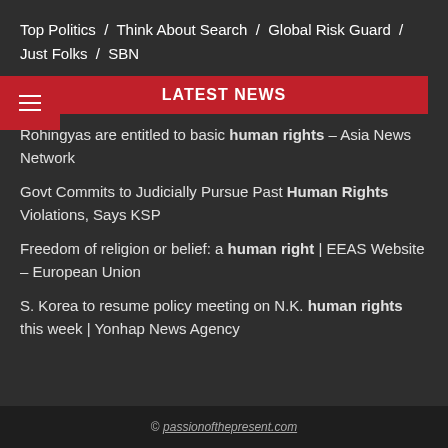Top Politics / Think About Search / Global Risk Guard / Just Folks / SBN
LATEST NEWS
Rohingyas are entitled to basic human rights – Asia News Network
Govt Commits to Judicially Pursue Past Human Rights Violations, Says KSP
Freedom of religion or belief: a human right | EEAS Website – European Union
S. Korea to resume policy meeting on N.K. human rights this week | Yonhap News Agency
© passionofthepresent.com